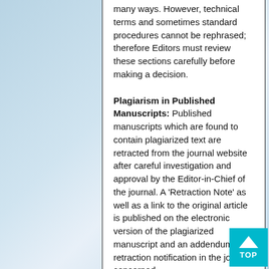many ways. However, technical terms and sometimes standard procedures cannot be rephrased; therefore Editors must review these sections carefully before making a decision.
Plagiarism in Published Manuscripts: Published manuscripts which are found to contain plagiarized text are retracted from the journal website after careful investigation and approval by the Editor-in-Chief of the journal. A 'Retraction Note' as well as a link to the original article is published on the electronic version of the plagiarized manuscript and an addendum with retraction notification in the journal concerned.
15. Copyrights: Authors who publish in Bentham OPEN journals retain copyright to their work. Submission of a manuscript to the respective journals